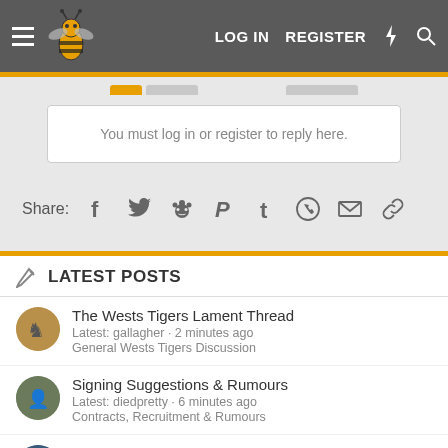LOG IN  REGISTER
You must log in or register to reply here.
Share:
LATEST POSTS
The Wests Tigers Lament Thread
Latest: gallagher · 2 minutes ago
General Wests Tigers Discussion
Signing Suggestions & Rumours
Latest: diedpretty · 6 minutes ago
Contracts, Recruitment & Rumours